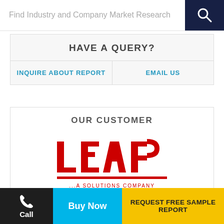Find Industry and Company Market Research
HAVE A QUERY?
INQUIRE ABOUT REPORT
EMAIL US
OUR CUSTOMER
[Figure (logo): LEAP ...A SOLUTIONS COMPANY red logo]
SIMILAR REPORTS
Call
Buy Now
REQUEST FREE SAMPLE REPORT